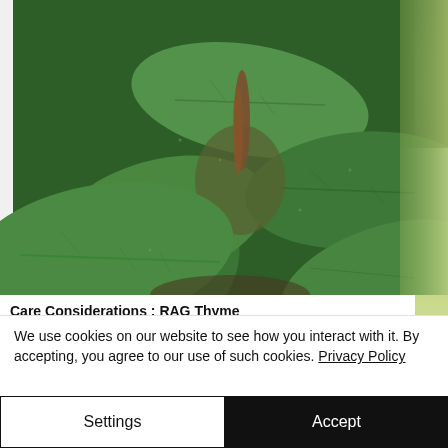[Figure (photo): Close-up photograph of large green plant leaves (possibly a Ficus or similar tropical plant), showing detailed leaf veining and texture. The leaves are dark to medium green with visible vein patterns. There is a blurred greenish-yellow area on the right edge.]
Care Considerations : RAG Thyme
We use cookies on our website to see how you interact with it. By accepting, you agree to our use of such cookies. Privacy Policy
Settings
Accept